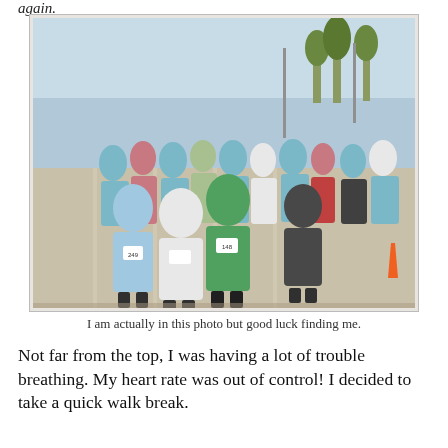again.
[Figure (photo): Crowd of runners on a wide bridge or road near water, taken at a race event. Many participants wearing race bibs, including numbers like 249, 148. Trees and water visible in background.]
I am actually in this photo but good luck finding me.
Not far from the top, I was having a lot of trouble breathing. My heart rate was out of control! I decided to take a quick walk break.
[Figure (photo): Aerial or elevated view of a bridge with city skyline and water in the background on a clear blue-sky day.]